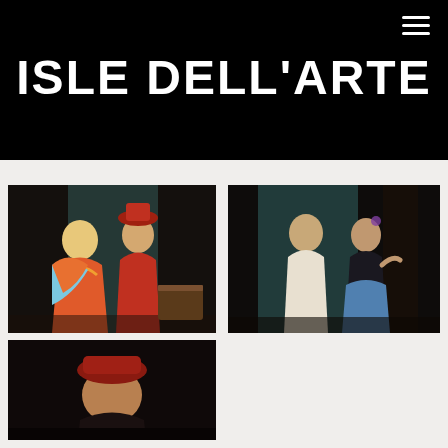ISLE DELL'ARTE
[Figure (photo): Theatre performance photo: two performers on stage, one in colorful floral costume and one in red coat and hat, dark stage background with teal curtain]
[Figure (photo): Theatre performance photo: male and female performers on stage, male in white shirt, female in blue skirt and dark top, teal curtain background]
[Figure (photo): Theatre performance photo: performer in red turban/hat on dark stage, partially visible at bottom of page]